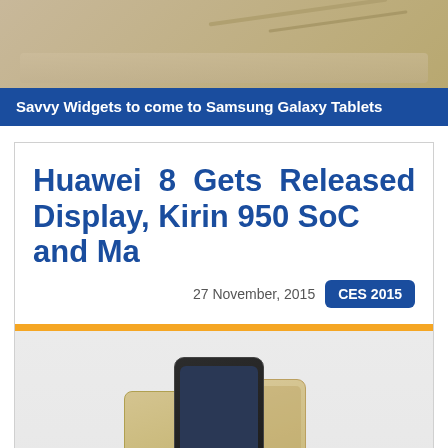[Figure (photo): Top portion of a tablet or device shown from above on a surface, cropped at top of page]
Savvy Widgets to come to Samsung Galaxy Tablets
Huawei 8 Gets Released Display, Kirin 950 SoC and Ma
27 November, 2015  CES 2015
[Figure (photo): Photo of Huawei smartphone devices shown from multiple angles on a light grey background]